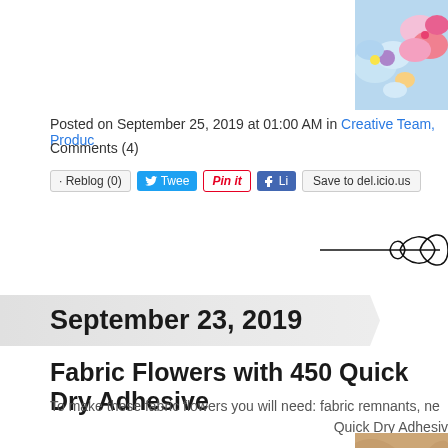[Figure (photo): Cropped top portion of a floral watercolor image with blue, purple, pink, and yellow flowers]
Posted on September 25, 2019 at 01:00 AM in Creative Team, Produc...
Comments (4)
[Figure (screenshot): Social sharing buttons: Reblog (0), Tweet, Pin it, Like, Save to del.icio.us]
[Figure (illustration): Decorative hand-drawn infinity/scroll ornament divider]
September 23, 2019
Fabric Flowers with 450 Quick Dry Adhesive
To make these fabric flowers you will need: fabric remnants, ne... Quick Dry Adhesiv...
[Figure (photo): Photo of fabric remnants with floral patterns on a light background]